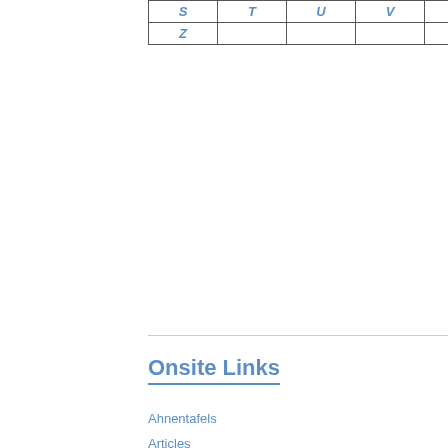| S | T | U | V | W | Y |
| Z |  |  |  |  |  |
Onsite Links
Ahnentafels
Articles
Biographies
Births